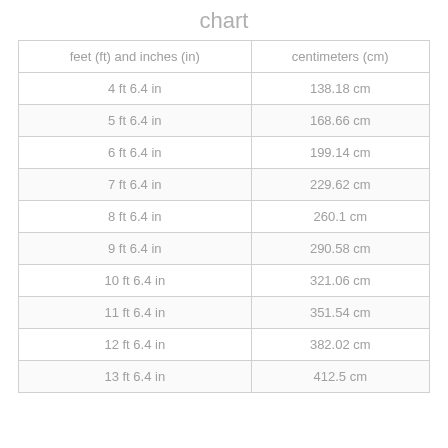chart
| feet (ft) and inches (in) | centimeters (cm) |
| --- | --- |
| 4 ft 6.4 in | 138.18 cm |
| 5 ft 6.4 in | 168.66 cm |
| 6 ft 6.4 in | 199.14 cm |
| 7 ft 6.4 in | 229.62 cm |
| 8 ft 6.4 in | 260.1 cm |
| 9 ft 6.4 in | 290.58 cm |
| 10 ft 6.4 in | 321.06 cm |
| 11 ft 6.4 in | 351.54 cm |
| 12 ft 6.4 in | 382.02 cm |
| 13 ft 6.4 in | 412.5 cm |